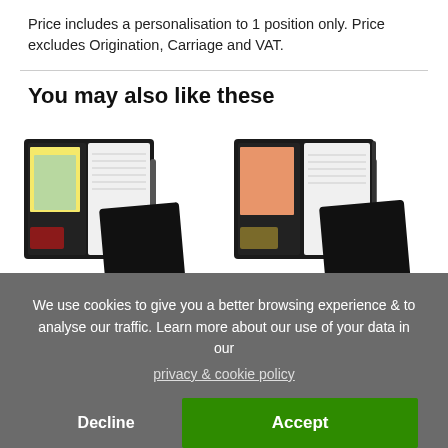Price includes a personalisation to 1 position only. Price excludes Origination, Carriage and VAT.
You may also like these
[Figure (photo): Two black portfolio/notebook folders shown open and closed. Left folder shows yellow and green paper inserts. Right folder shows orange/salmon paper inserts. Both have a small branded notepad in front.]
We use cookies to give you a better browsing experience & to analyse our traffic. Learn more about our use of your data in our privacy & cookie policy
Decline
Accept